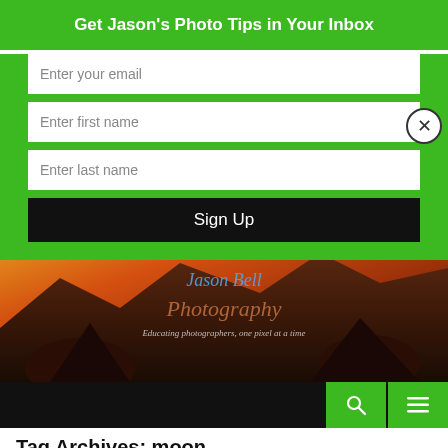Get Jason's Photo Tips in Your Inbox
Enter your email
Enter first name
Enter last name
Sign Up
[Figure (photo): Jason Bell Photography banner — landscape photo of mountains at sunset with orange/red sky, overlaid with cursive logo text 'Jason Bell Photography — Educating photographers, one pixel at a time']
Tag Archives: moon